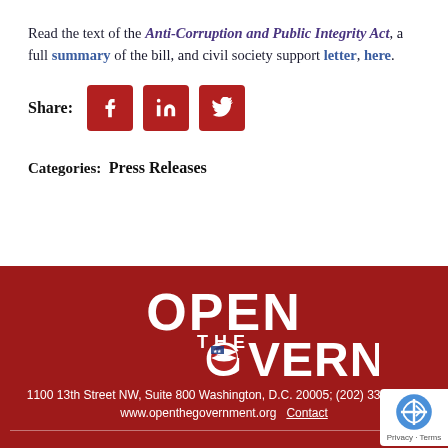Read the text of the Anti-Corruption and Public Integrity Act, a full summary of the bill, and civil society support letter, here.
[Figure (infographic): Share buttons row with Facebook, LinkedIn, and Twitter icons in dark red squares]
Categories: Press Releases
[Figure (logo): Open The Government logo in white text on dark red background with American flag 'O' in Government]
1100 13th Street NW, Suite 800 Washington, D.C. 20005; (202) 332-6736; www.openthegovernment.org Contact